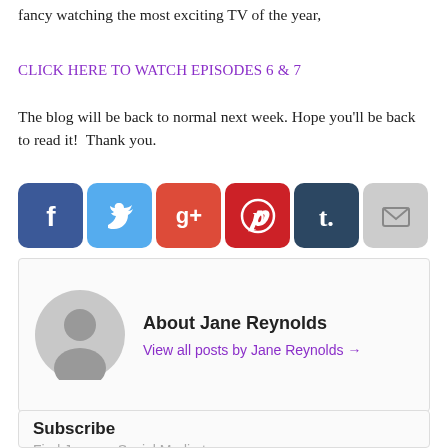fancy watching the most exciting TV of the year,
CLICK HERE TO WATCH EPISODES 6 & 7
The blog will be back to normal next week. Hope you'll be back to read it!  Thank you.
[Figure (infographic): Row of six social media share icons: Facebook (blue), Twitter (light blue), Google+ (red/orange), Pinterest (red), Tumblr (dark teal), Email (grey)]
About Jane Reynolds
View all posts by Jane Reynolds →
Subscribe
Find Jane on Social Media too …
[Figure (infographic): Row of three social icons: RSS (orange), Twitter (blue), Facebook (dark blue)]